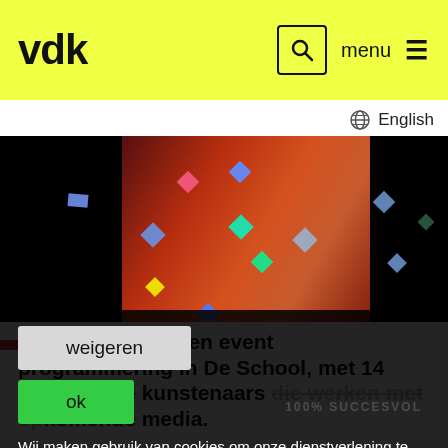vdk
English
[Figure (photo): Hero image showing a group exposition with colorful confetti diamonds on a dark background and a central colorful photo.]
Groepsexpositie en event programmering in De School, met 14 opkomende kunstenaars die werken met opkomende media.
weigeren
ok
100% SUCCESVOL
Wij maken gebruik van cookies om onze dienstverlening te verbeteren. Door gebruik te maken van deze website ga je hiermee akkoord